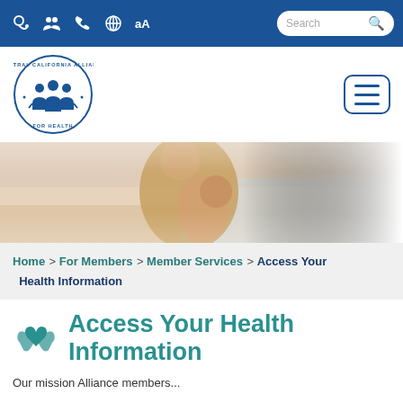Navigation bar with icons and search box
[Figure (logo): Central California Alliance for Health circular logo with figures and text]
[Figure (photo): Hero image of a parent hugging a child at a beach]
Home > For Members > Member Services > Access Your Health Information
Access Your Health Information
Our mission Alliance members...